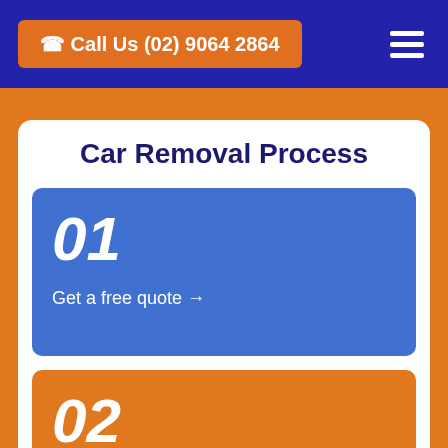Call Us (02) 9064 2864
Car Removal Process
01 Get a free quote →
02 Get car removed →